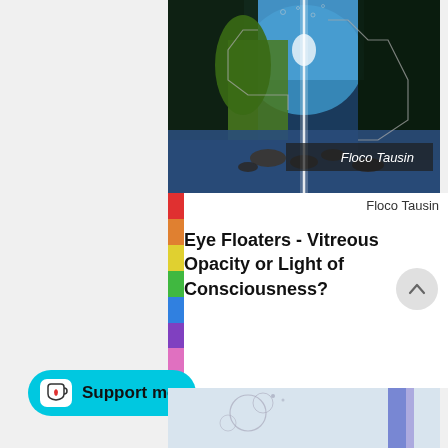[Figure (photo): Book cover image showing a mountain river scene with tall evergreen trees on both sides, blue sky, a glowing white vertical line down the center with circuit-like outlines overlaid, and the text 'Floco Tausin' on a dark semi-transparent banner in the lower right area.]
Floco Tausin
Eye Floaters - Vitreous Opacity or Light of Consciousness?
[Figure (screenshot): A 'Support me' button in cyan/turquoise color with a coffee cup icon containing a heart, and text 'Support me']
[Figure (photo): Bottom preview strip of another image showing partial circular shapes and a purple/indigo vertical element on a light background.]